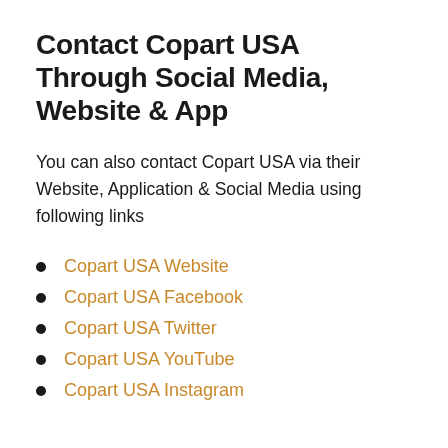Contact Copart USA Through Social Media, Website & App
You can also contact Copart USA via their Website, Application & Social Media using following links
Copart USA Website
Copart USA Facebook
Copart USA Twitter
Copart USA YouTube
Copart USA Instagram